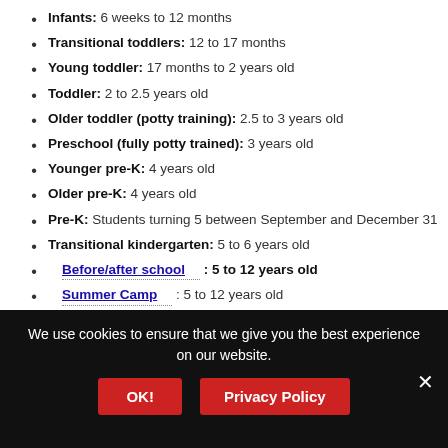Infants: 6 weeks to 12 months
Transitional toddlers: 12 to 17 months
Young toddler: 17 months to 2 years old
Toddler: 2 to 2.5 years old
Older toddler (potty training): 2.5 to 3 years old
Preschool (fully potty trained): 3 years old
Younger pre-K: 4 years old
Older pre-K: 4 years old
Pre-K: Students turning 5 between September and December 31
Transitional kindergarten: 5 to 6 years old
Before/after school : 5 to 12 years old
Summer Camp : 5 to 12 years old
Junior Kindergarten Camp: Kids going into kindergarten the following year (typically TK students)
We use cookies to ensure that we give you the best experience on our website.